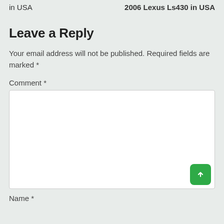in USA    2006 Lexus Ls430 in USA
Leave a Reply
Your email address will not be published. Required fields are marked *
Comment *
Name *